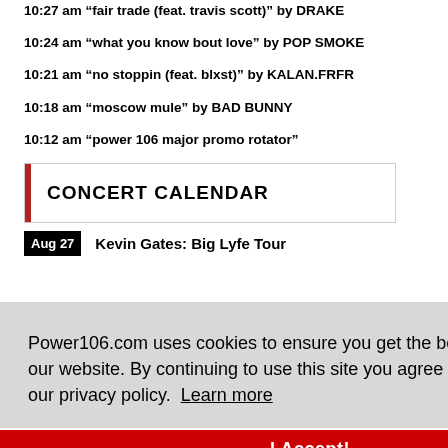10:27 am “fair trade (feat. travis scott)” by DRAKE
10:24 am “what you know bout love” by POP SMOKE
10:21 am “no stoppin (feat. blxst)” by KALAN.FRFR
10:18 am “moscow mule” by BAD BUNNY
10:12 am “power 106 major promo rotator”
CONCERT CALENDAR
Aug 27   Kevin Gates: Big Lyfe Tour
Power106.com uses cookies to ensure you get the best experience on our website. By continuing to use this site you agree to the terms of our privacy policy. Learn more
I Accept!